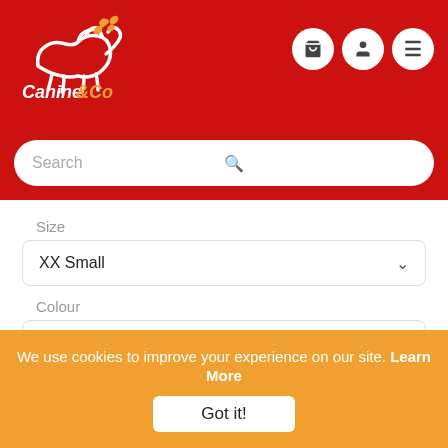[Figure (logo): Canine & Co logo: white dog outline with orange bone graphic on red background, text 'Canine&Co' below]
[Figure (screenshot): Navigation icons: shopping cart, user profile, and hamburger menu as white circles]
Search
Size
XX Small
Colour
Blue Dusk
We use cookies to improve your experience on our site. Learn More
Got it!